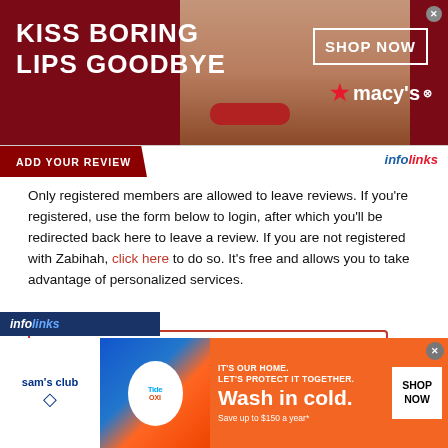[Figure (photo): Macy's advertisement banner: 'KISS BORING LIPS GOODBYE' with a woman's face wearing red lipstick, and a 'SHOP NOW' button with Macy's logo on dark red background.]
ADD YOUR REVIEW
Only registered members are allowed to leave reviews. If you're registered, use the form below to login, after which you'll be redirected back here to leave a review. If you are not registered with Zabihah, click here to do so. It's free and allows you to take advantage of personalized services.
[Figure (screenshot): Username input field with red border]
[Figure (screenshot): Password input field with red border]
[Figure (screenshot): 'LOGIN TO ZABIHAH' button with red border]
[Figure (advertisement): Sam's Club and Tide advertisement: 'IT'S OUR HOME. LET'S PROTECT IT TOGETHER. Wash in cold. Save up to $150 a year*' with SHOP NOW button on orange background.]